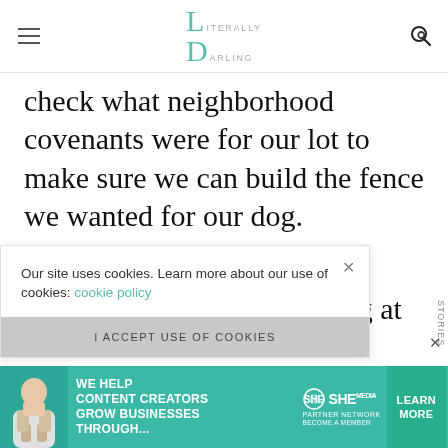Literally Darling
check what neighborhood covenants were for our lot to make sure we can build the fence we wanted for our dog.
Kelly: We started by looking at the neighbor's house and homes built. W
Our site uses cookies. Learn more about our use of cookies: cookie policy
I ACCEPT USE OF COOKIES
[Figure (infographic): SHE Media Partner Network advertisement banner: 'We help content creators grow businesses through...' with Learn More button]